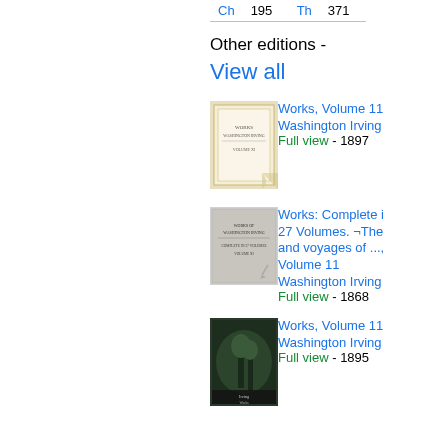| Abbr | Num | Abbr | Num |
| --- | --- | --- | --- |
| Ch | 195 | Th | 371 |
Other editions - View all
[Figure (photo): Book cover thumbnail for Works, Volume 11, 1897 edition]
Works, Volume 11
Washington Irving
Full view - 1897
[Figure (photo): Book cover thumbnail for Works: Complete in 27 Volumes, 1868 edition]
Works: Complete in 27 Volumes. ¬The and voyages of ..., Volume 11
Washington Irving
Full view - 1868
[Figure (photo): Book cover thumbnail for Works, Volume 11, 1895 edition]
Works, Volume 11
Washington Irving
Full view - 1895